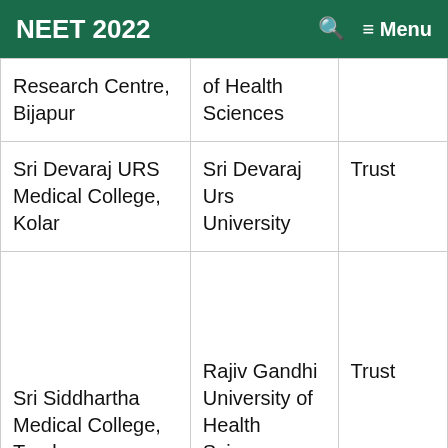NEET 2022  🔍  ≡ Menu
| Research Centre, Bijapur | of Health Sciences |  |
| Sri Devaraj URS Medical College, Kolar | Sri Devaraj Urs University | Trust |
| Sri Siddhartha Medical College, Tumkur | Rajiv Gandhi University of Health Sciences | Trust |